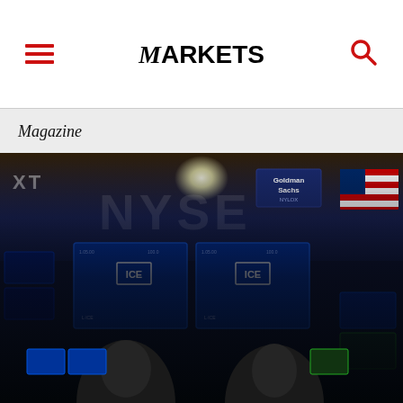MARKETS MEDIA
Magazine
[Figure (photo): NYSE trading floor with ICE branded screens, Goldman Sachs signage, traders viewed from above at workstations with multiple blue screens]